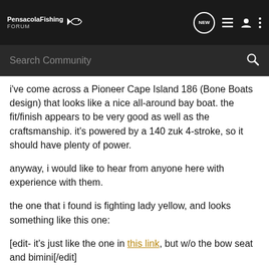PensacolaFishing FORUM [navigation icons: NEW, list, profile, menu]
Search Community
i've come across a Pioneer Cape Island 186 (Bone Boats design) that looks like a nice all-around bay boat. the fit/finish appears to be very good as well as the craftsmanship. it's powered by a 140 zuk 4-stroke, so it should have plenty of power.
anyway, i would like to hear from anyone here with experience with them.
the one that i found is fighting lady yellow, and looks something like this one:
[edit- it's just like the one in this link, but w/o the bow seat and bimini[/edit]